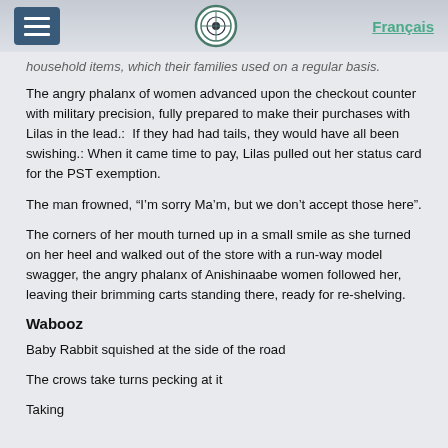Français
household items, which their families used on a regular basis.
The angry phalanx of women advanced upon the checkout counter with military precision, fully prepared to make their purchases with Lilas in the lead.:  If they had had tails, they would have all been swishing.: When it came time to pay, Lilas pulled out her status card for the PST exemption.
The man frowned, “I’m sorry Ma’m, but we don’t accept those here”.
The corners of her mouth turned up in a small smile as she turned on her heel and walked out of the store with a run-way model swagger, the angry phalanx of Anishinaabe women followed her, leaving their brimming carts standing there, ready for re-shelving.
Wabooz
Baby Rabbit squished at the side of the road
The crows take turns pecking at it
Taking